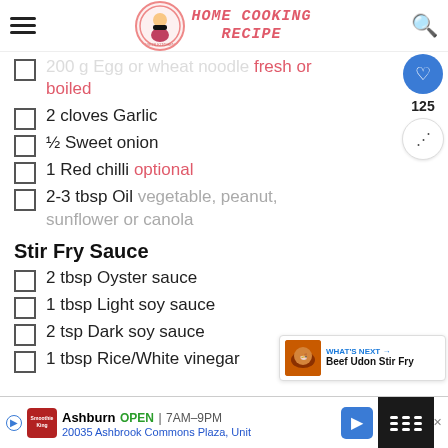HOME COOKING RECIPE
200 g Egg or wheat noodle fresh or boiled
2 cloves Garlic
½ Sweet onion
1 Red chilli optional
2-3 tbsp Oil vegetable, peanut, sunflower or canola
Stir Fry Sauce
2 tbsp Oyster sauce
1 tbsp Light soy sauce
2 tsp Dark soy sauce
1 tbsp Rice/White vinegar
Ashburn OPEN | 7AM-9PM  20035 Ashbrook Commons Plaza, Unit